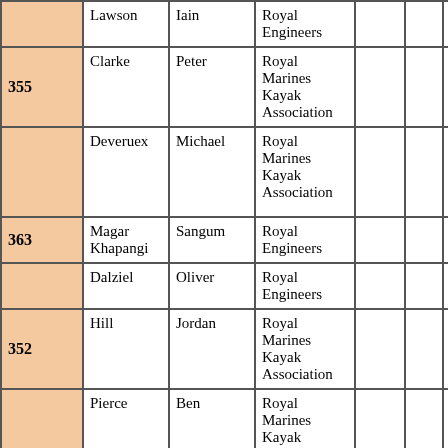| No. | Surname | First Name | Club/Unit |  |  | Time |
| --- | --- | --- | --- | --- | --- | --- |
|  | Lawson | Iain | Royal Engineers |  |  |  |
| 355 | Clarke | Peter | Royal Marines Kayak Association |  |  | 18:5 |
|  | Deveruex | Michael | Royal Marines Kayak Association |  |  |  |
| 363 | Magar Khapangi | Sangum | Royal Engineers |  |  | 19:3 |
|  | Dalziel | Oliver | Royal Engineers |  |  |  |
| 352 | Hill | Jordan | Royal Marines Kayak Association |  |  | 19:4 |
|  | Pierce | Ben | Royal Marines Kayak Association |  |  |  |
| 361 | Goodall | Joshua | Royal Engineers |  |  | 19:5 |